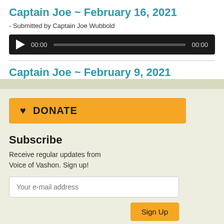Captain Joe ~ February 16, 2021
- Submitted by Captain Joe Wubbold
[Figure (other): Audio player with play button, 00:00 start time, progress bar, and 00:00 end time on dark background]
Captain Joe ~ February 9, 2021
[Figure (other): Orange DONATE button with heart icon]
Subscribe
Receive regular updates from Voice of Vashon. Sign up!
Your e-mail address
Sign Up
Alerts